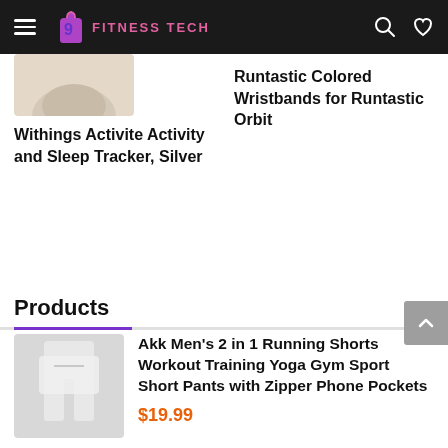FITNESS TECH
Withings Activite Activity and Sleep Tracker, Silver
Runtastic Colored Wristbands for Runtastic Orbit
Products
Akk Men's 2 in 1 Running Shorts Workout Training Yoga Gym Sport Short Pants with Zipper Phone Pockets
$19.99